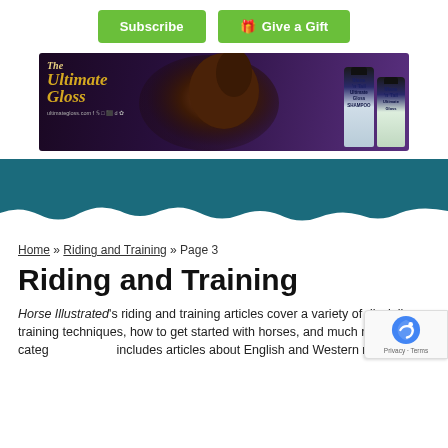Subscribe | Give a Gift
[Figure (photo): Advertisement banner for 'The Ultimate Gloss' featuring a dark horse and Mane 'n Tail product bottles on a purple/dark background]
Home » Riding and Training » Page 3
Riding and Training
Horse Illustrated's riding and training articles cover a variety of disciplines, training techniques, how to get started with horses, and much more. This category includes articles about English and Western riding